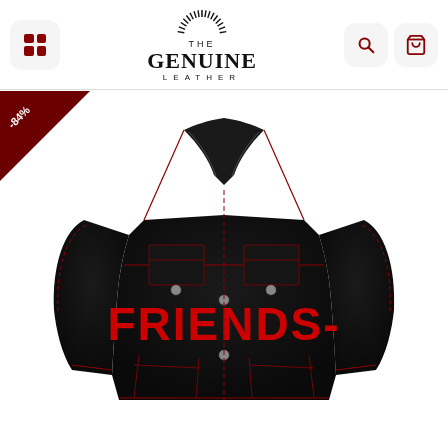The Genuine Leather - navigation header with logo, menu icon, search and cart
[Figure (photo): Black denim jacket with red 'FRIENDS-' lettering printed across the chest, red contrast stitching throughout, silver buttons, multiple pockets. A dark red triangular discount badge showing '-84%' is overlaid in the top-left corner.]